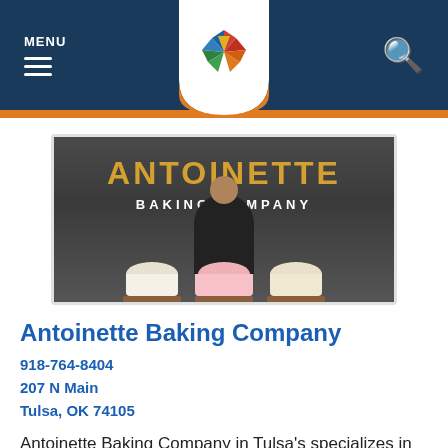MENU [hamburger icon] [Tulsa logo] [search icon]
[Figure (photo): Photo of Antoinette Baking Company storefront window with gold lettering. A person in a dark apron stands behind a counter displaying three decorated cakes.]
Antoinette Baking Company
918-764-8404
207 N Main
Tulsa, OK 74105
Antoinette Baking Company in Tulsa's specializes in delicious macarons, pies,